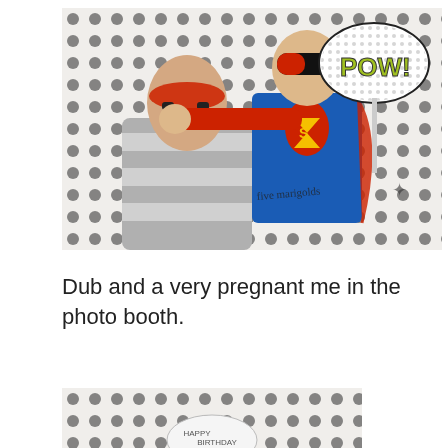[Figure (photo): A child dressed as Superman wearing a superhero mask punching an adult man wearing a red eye mask, in front of a polka-dot backdrop. The child holds a 'POW!' comic book style speech bubble prop. A watermark reads 'five marigolds' with a small fairy logo.]
Dub and a very pregnant me in the photo booth.
[Figure (photo): Partial photo showing the same polka-dot backdrop with a 'Happy Birthday' sign visible at the bottom center.]